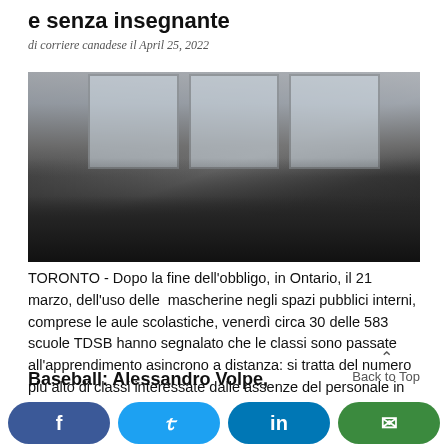e senza insegnante
di corriere canadese il April 25, 2022
[Figure (photo): Empty classroom with chairs arranged along walls, large windows letting in light, dark floor.]
TORONTO - Dopo la fine dell'obbligo, in Ontario, il 21 marzo, dell'uso delle  mascherine negli spazi pubblici interni, comprese le aule scolastiche, venerdì circa 30 delle 583 scuole TDSB hanno segnalato che le classi sono passate all'apprendimento asincrono a distanza: si tratta del numero più alto di classi interessate dalle assenze del personale in un [...]
Baseball: Alessandro Volpe,
Back to Top